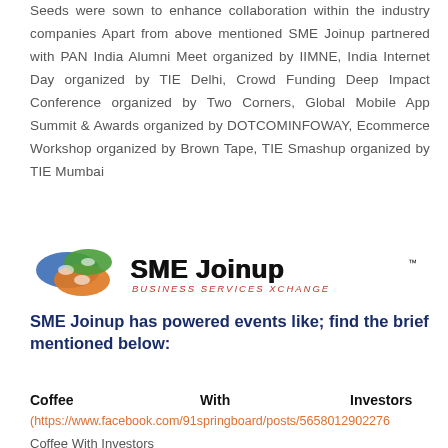Seeds were sown to enhance collaboration within the industry companies Apart from above mentioned SME Joinup partnered with PAN India Alumni Meet organized by IIMNE, India Internet Day organized by TIE Delhi, Crowd Funding Deep Impact Conference organized by Two Corners, Global Mobile App Summit & Awards organized by DOTCOMINFOWAY, Ecommerce Workshop organized by Brown Tape, TIE Smashup organized by TIE Mumbai
[Figure (logo): SME Joinup logo with colorful hand icons and text 'SME Joinup Business Services Xchange']
SME Joinup has powered events like; find the brief mentioned below:
Coffee   With   Investors
(https://www.facebook.com/91springboard/posts/565801290227…
Coffee With Investors